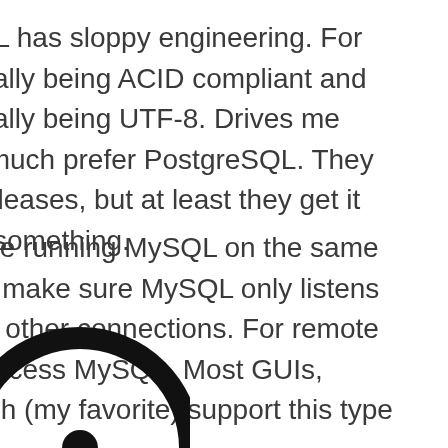ySQL has sloppy engineering. For actually being ACID compliant and actually being UTF-8. Drives me e, I much prefer PostgreSQL. They re releases, but at least they get it ase something.
you're running MySQL on the same then make sure MySQL only listens ts all other connections. For remote en access MySQL. Most GUIs, bench (my favorite) support this type
[Figure (illustration): A circular icon with a thick black ring and a filled black dot in the center, partially cropped at the bottom of the page.]